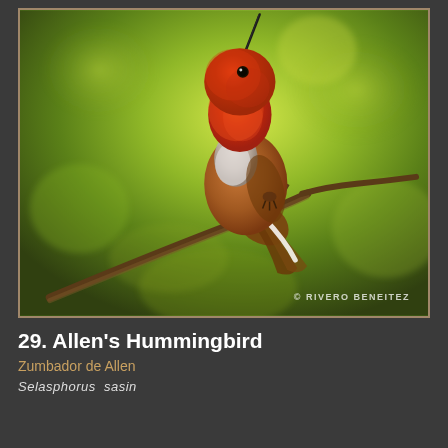[Figure (photo): Close-up photograph of an Allen's Hummingbird (Selasphorus sasin) perched on a thin branch. The bird has a vibrant iridescent red-orange gorget and head feathers, white breast patch, and rufous/brown body and tail. Background is blurred green foliage. Watermark reads: © RIVERO BENEITEZ]
29. Allen's Hummingbird
Zumbador de Allen
Selasphorus  sasin